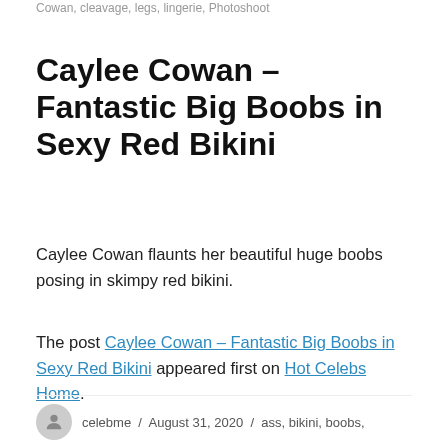Cowan, cleavage, legs, lingerie, Photoshoot
Caylee Cowan – Fantastic Big Boobs in Sexy Red Bikini
Caylee Cowan flaunts her beautiful huge boobs posing in skimpy red bikini.
The post Caylee Cowan – Fantastic Big Boobs in Sexy Red Bikini appeared first on Hot Celebs Home.
celebme / August 31, 2020 / ass, bikini, boobs,